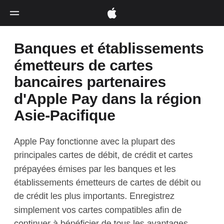Apple navigation bar with Apple logo and menu icon
Banques et établissements émetteurs de cartes bancaires partenaires d’Apple Pay dans la région Asie-Pacifique
Apple Pay fonctionne avec la plupart des principales cartes de débit, de crédit et cartes prépayées émises par les banques et les établissements émetteurs de cartes de débit ou de crédit les plus importants. Enregistrez simplement vos cartes compatibles afin de continuer à bénéficier de tous les avantages qu’elles induisent, notamment en matière de